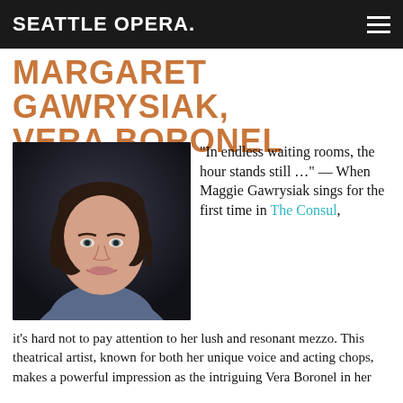SEATTLE OPERA.
MARGARET GAWRYSIAK, VERA BORONEL
[Figure (photo): Headshot portrait of Margaret Gawrysiak, a woman with dark curly hair, smiling, wearing a blue top against a dark background.]
“In endless waiting rooms, the hour stands still …” — When Maggie Gawrysiak sings for the first time in The Consul, it’s hard not to pay attention to her lush and resonant mezzo. This theatrical artist, known for both her unique voice and acting chops, makes a powerful impression as the intriguing Vera Boronel in her